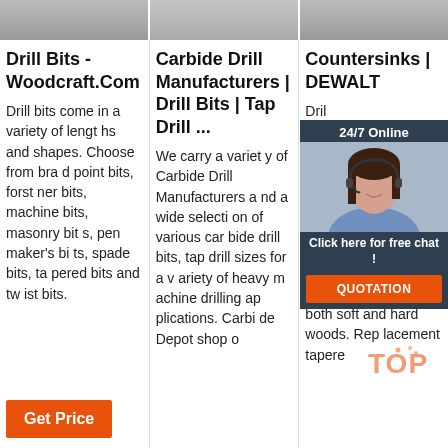[Figure (photo): Three thumbnail images in a horizontal strip at the top of the page]
Drill Bits - Woodcraft.Com
Drill bits come in a variety of lengths and shapes. Choose from brad point bits, forstner bits, machine bits, masonry bits, pen maker's bits, spade bits, tapered bits and twist bits.
Carbide Drill Manufacturers | Drill Bits | Tap Drill ...
We carry a variety of Carbide Drill Manufacturers and a wide selection of various carbide drill bits, tap drill sizes for a variety of heavy machine drilling applications. Carbide Depot shop o
Countersinks | DEWALT
Drill...k, and more with D...nter...4-c...cou...ers...ed with a professional finish. Ideal for both soft and hard woods. Rep lacement tapere
[Figure (infographic): Chat widget with 24/7 Online label, agent photo, Click here for free chat text, and QUOTATION button]
[Figure (logo): TOP logo watermark in orange]
Get Price